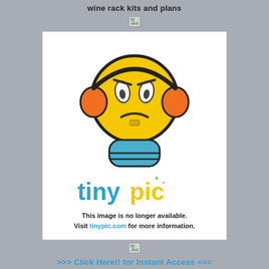wine rack kits and plans
[Figure (illustration): Broken/missing image icon (small)]
[Figure (illustration): TinyPic placeholder image showing a yellow emoji face with headphones and blue gloves, with TinyPic logo and message: 'This image is no longer available. Visit tinypic.com for more information.']
[Figure (illustration): Broken/missing image icon (small)]
>>> Click Here!! for Instant Access <<<